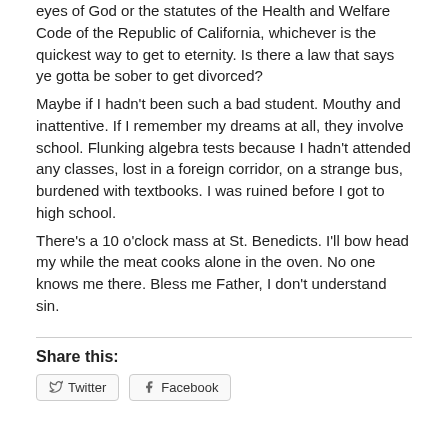eyes of God or the statutes of the Health and Welfare Code of the Republic of California, whichever is the quickest way to get to eternity. Is there a law that says ye gotta be sober to get divorced?
Maybe if I hadn't been such a bad student. Mouthy and inattentive. If I remember my dreams at all, they involve school. Flunking algebra tests because I hadn't attended any classes, lost in a foreign corridor, on a strange bus, burdened with textbooks. I was ruined before I got to high school.
There's a 10 o'clock mass at St. Benedicts. I'll bow head my while the meat cooks alone in the oven. No one knows me there. Bless me Father, I don't understand sin.
Share this:
Twitter  Facebook